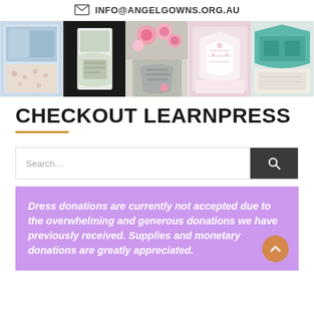INFO@ANGELGOWNS.ORG.AU
[Figure (photo): Strip of five photos showing handmade angel gowns and baby garments in various fabrics and colors]
CHECKOUT LEARNPRESS
Search...
Dress donations are currently not accepted due to the overwhelming and generous donations we have previously received. Supplies and monetary donations are greatly appreciated.